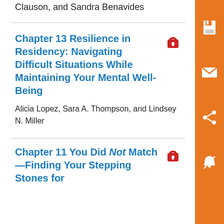Clauson, and Sandra Benavides
Chapter 13 Resilience in Residency: Navigating Difficult Situations While Maintaining Your Mental Well-Being
Alicia Lopez, Sara A. Thompson, and Lindsey N. Miller
Chapter 11 You Did Not Match—Finding Your Stepping Stones for